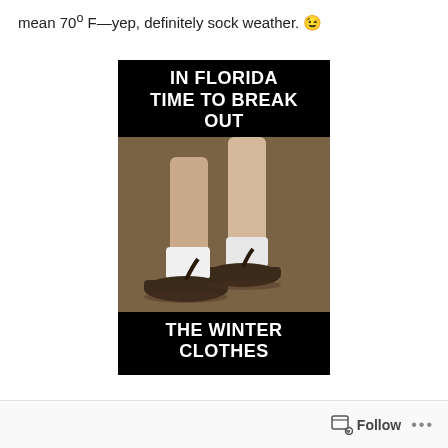mean 70º F—yep, definitely sock weather. 😉
[Figure (photo): A humorous meme with black background and white bold text. Top text reads 'IN FLORIDA TIME TO BREAK OUT'. The center shows a photograph of human legs wearing white socks with flip-flop sandals on a carpet floor. Bottom text reads 'THE WINTER CLOTHES'.]
Follow  •••